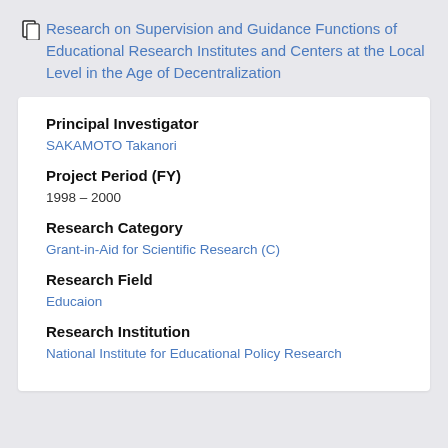Research on Supervision and Guidance Functions of Educational Research Institutes and Centers at the Local Level in the Age of Decentralization
Principal Investigator
SAKAMOTO Takanori
Project Period (FY)
1998 – 2000
Research Category
Grant-in-Aid for Scientific Research (C)
Research Field
Educaion
Research Institution
National Institute for Educational Policy Research